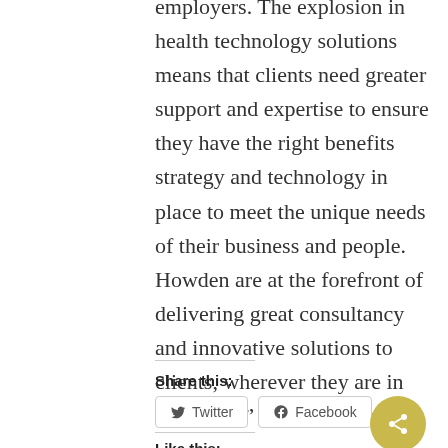employers. The explosion in health technology solutions means that clients need greater support and expertise to ensure they have the right benefits strategy and technology in place to meet the unique needs of their business and people.  Howden are at the forefront of delivering great consultancy and innovative solutions to clients, wherever they are in the world."
Share this:
Twitter
Facebook
Like this: